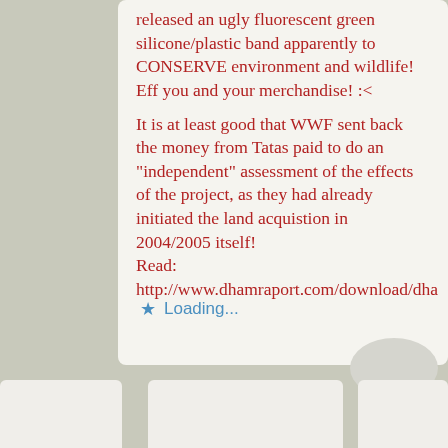released an ugly fluorescent green silicone/plastic band apparently to CONSERVE environment and wildlife! Eff you and your merchandise! :<

It is at least good that WWF sent back the money from Tatas paid to do an "independent" assessment of the effects of the project, as they had already initiated the land acquistion in 2004/2005 itself!
Read:
http://www.dhamraport.com/download/dha
Loading...